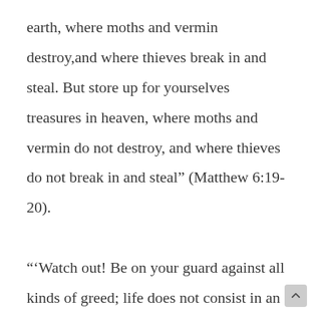earth, where moths and vermin destroy,and where thieves break in and steal. But store up for yourselves treasures in heaven, where moths and vermin do not destroy, and where thieves do not break in and steal” (Matthew 6:19-20).

“‘Watch out! Be on your guard against all kinds of greed; life does not consist in an abundance of possessions.’” And he told them this parable: “The ground of a certain rich man yielded an abundant